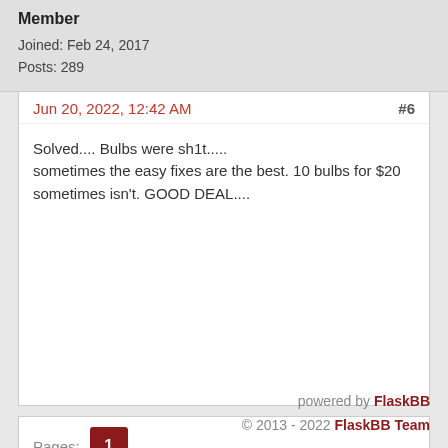Member
Joined: Feb 24, 2017
Posts: 289
Jun 20, 2022, 12:42 AM
#6
Solved.... Bulbs were sh1t.....
sometimes the easy fixes are the best. 10 bulbs for $20
sometimes isn't. GOOD DEAL....
Pages: 1
powered by FlaskBB
© 2013 - 2022 FlaskBB Team